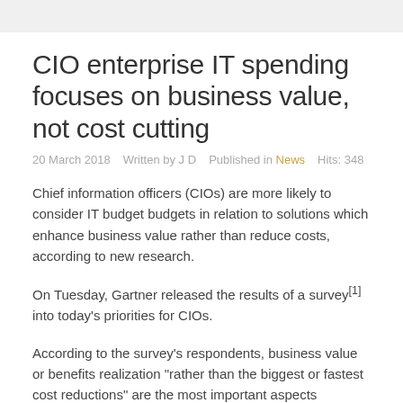CIO enterprise IT spending focuses on business value, not cost cutting
20 March 2018    Written by J D    Published in News    Hits: 348
Chief information officers (CIOs) are more likely to consider IT budget budgets in relation to solutions which enhance business value rather than reduce costs, according to new research.
On Tuesday, Gartner released the results of a survey[1] into today's priorities for CIOs.
According to the survey's respondents, business value or benefits realization "rather than the biggest or fastest cost reductions" are the most important aspects considered today by executives.